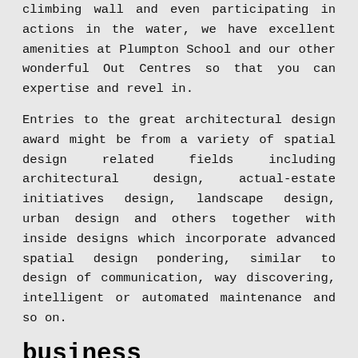climbing wall and even participating in actions in the water, we have excellent amenities at Plumpton School and our other wonderful Out Centres so that you can expertise and revel in.
Entries to the great architectural design award might be from a variety of spatial design related fields including architectural design, actual-estate initiatives design, landscape design, urban design and others together with inside designs which incorporate advanced spatial design pondering, similar to design of communication, way discovering, intelligent or automated maintenance and so on.
business management consultant
There isn't a one-dimension-suits strategy in architecture,